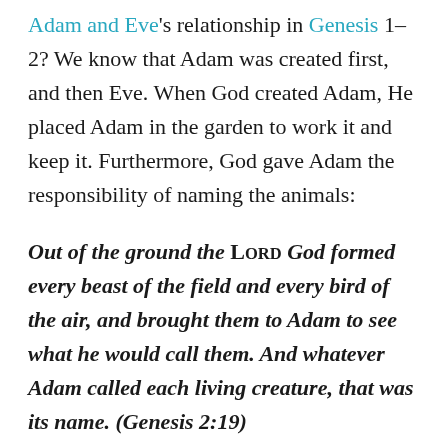Adam and Eve's relationship in Genesis 1–2? We know that Adam was created first, and then Eve. When God created Adam, He placed Adam in the garden to work it and keep it. Furthermore, God gave Adam the responsibility of naming the animals:
Out of the ground the LORD God formed every beast of the field and every bird of the air, and brought them to Adam to see what he would call them. And whatever Adam called each living creature, that was its name. (Genesis 2:19)
Adam clearly had a leadership role in the